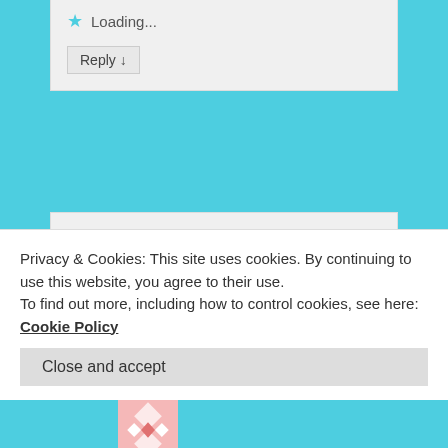Loading...
Reply ↓
[Figure (illustration): Pink geometric patterned avatar image for user Lynn Hotchkiss]
Lynn Hotchkiss on December 17, 2015 at 6:48 pm said:
I loved the red sports car story, Roberta!
Privacy & Cookies: This site uses cookies. By continuing to use this website, you agree to their use.
To find out more, including how to control cookies, see here: Cookie Policy
Close and accept